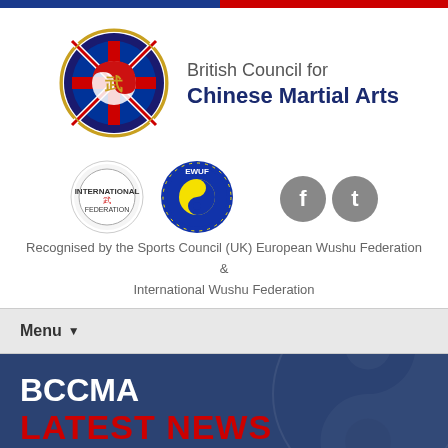[Figure (logo): Top color bars: blue and red horizontal stripes]
[Figure (logo): British Council for Chinese Martial Arts circular logo with UK flag and Chinese character]
British Council for Chinese Martial Arts
[Figure (logo): International Wushu Federation circular logo with Chinese character]
[Figure (logo): EWUF (European Wushu Federation) circular logo]
[Figure (logo): Facebook and Twitter social media icons (grey circles with f and t letters)]
Recognised by the Sports Council (UK) European Wushu Federation & International Wushu Federation
Menu
BCCMA
LATEST NEWS